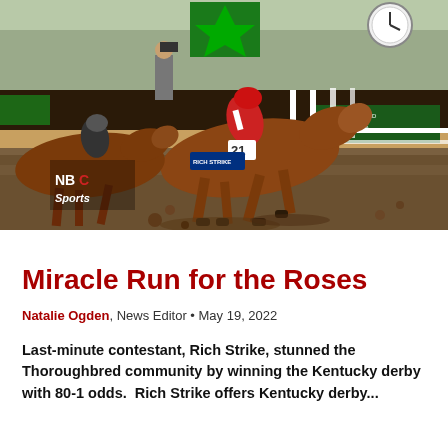[Figure (photo): Horse race photo showing Rich Strike and jockey (number 21, in red and white silks) winning the Kentucky Derby at Churchill Downs. NBC Sports signage visible. Green and white finishing post and Woodford Reserve advertising boards in background.]
Miracle Run for the Roses
Natalie Ogden, News Editor • May 19, 2022
Last-minute contestant, Rich Strike, stunned the Thoroughbred community by winning the Kentucky derby with 80-1 odds.  Rich Strike offers Kentucky derby...